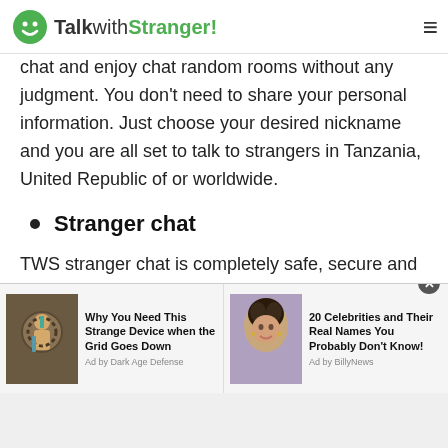TalkwithStranger!
chat and enjoy chat random rooms without any judgment. You don't need to share your personal information. Just choose your desired nickname and you are all set to talk to strangers in Tanzania, United Republic of or worldwide.
Stranger chat
TWS stranger chat is completely safe, secure and convenient for all. Yes, as we said earlier, you are not required to share your personal information with anyone. So, you can make your chat secret and talk
[Figure (screenshot): Advertisement bar with two sponsored content items: 'Why You Need This Strange Device when the Grid Goes Down' by Dark Age Defense, and '20 Celebrities and Their Real Names You Probably Don't Know!' by Ad by BillyNews]